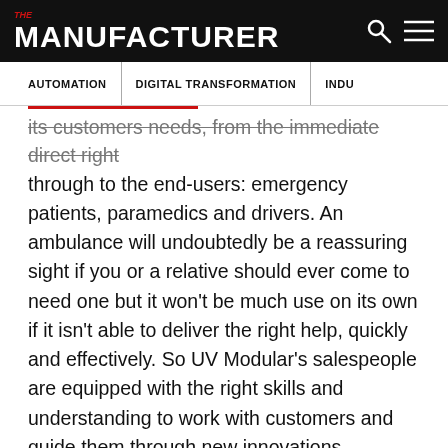THE MANUFACTURER
AUTOMATION | DIGITAL TRANSFORMATION | INDU
its customers needs, from the immediate direct right through to the end-users: emergency patients, paramedics and drivers. An ambulance will undoubtedly be a reassuring sight if you or a relative should ever come to need one but it won't be much use on its own if it isn't able to deliver the right help, quickly and effectively. So UV Modular's salespeople are equipped with the right skills and understanding to work with customers and guide them through new innovations, regulations and developments.
One of those relatively new areas is CEN (European standardisation) compliance. It's a development that has been welcomed by UV Modular, as it has eliminated grey